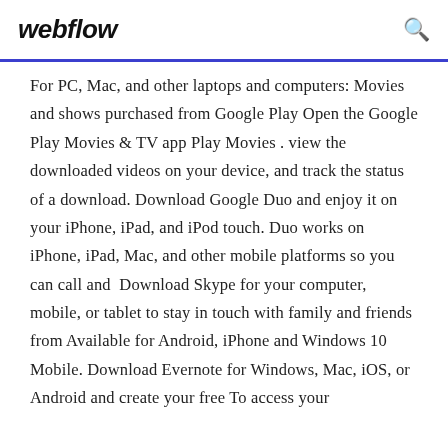webflow
For PC, Mac, and other laptops and computers: Movies and shows purchased from Google Play Open the Google Play Movies & TV app Play Movies . view the downloaded videos on your device, and track the status of a download. Download Google Duo and enjoy it on your iPhone, iPad, and iPod touch. Duo works on iPhone, iPad, Mac, and other mobile platforms so you can call and  Download Skype for your computer, mobile, or tablet to stay in touch with family and friends from Available for Android, iPhone and Windows 10 Mobile. Download Evernote for Windows, Mac, iOS, or Android and create your free To access your